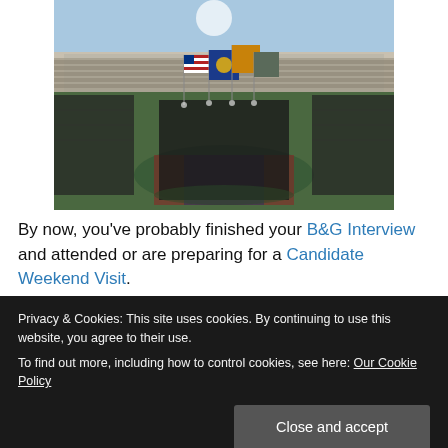[Figure (photo): Military color guard holding flags including the American flag and service flags, standing in formation on a football field in a stadium, flanked by rows of uniformed cadets or midshipmen]
By now, you've probably finished your B&G Interview and attended or are preparing for a Candidate Weekend Visit.
Privacy & Cookies: This site uses cookies. By continuing to use this website, you agree to their use.
To find out more, including how to control cookies, see here: Our Cookie Policy
Close and accept